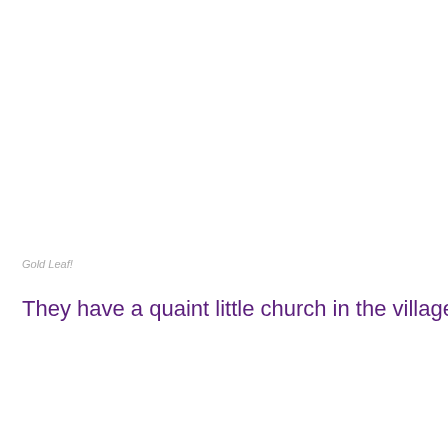Gold Leaf!
They have a quaint little church in the village too.